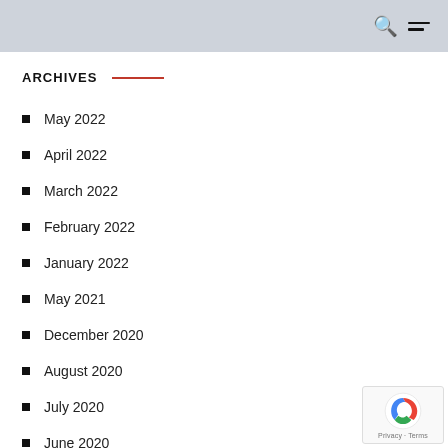ARCHIVES
May 2022
April 2022
March 2022
February 2022
January 2022
May 2021
December 2020
August 2020
July 2020
June 2020